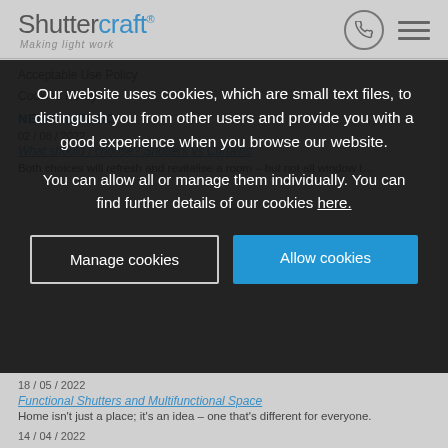Shuttercraft — Making light work
Acceptable Use Policy
Cookies Policy
NEWS & BLOG
02 / 08 / 2022
What should I choose? Shutters vs Curtains
Both choices will refresh and revitalise a room – but not all window t...
Our website uses cookies, which are small text files, to distinguish you from other users and provide you with a good experience when you browse our website.
You can allow all or manage them individually. You can find further details of our cookies here.
Manage cookies
Allow cookies
18 / 05 / 2022
Functional Shutters and Multifunctional Space
Home isn't just a place; it's an idea – one that's different for everyone.
14 / 04 / 2022